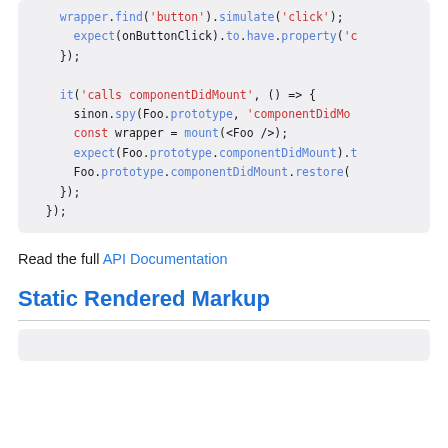[Figure (screenshot): Code block showing JavaScript test code with syntax highlighting. Lines include wrapper.find('button').simulate('click'), expect(onButtonClick).to.have.property('c..., }); then it('calls componentDidMount', () => { sinon.spy(Foo.prototype, 'componentDidMo... const wrapper = mount(<Foo />); expect(Foo.prototype.componentDidMount). Foo.prototype.componentDidMount.restore( }); });]
Read the full API Documentation
Static Rendered Markup
[Figure (screenshot): Beginning of another code block, content cut off at bottom of page]